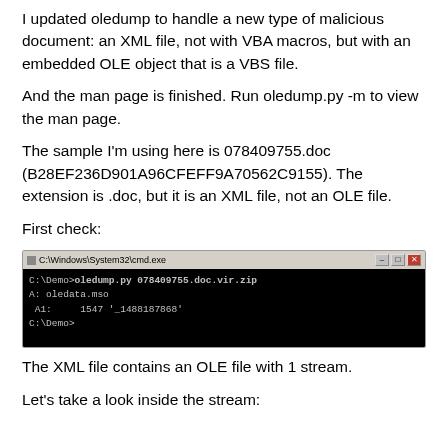I updated oledump to handle a new type of malicious document: an XML file, not with VBA macros, but with an embedded OLE object that is a VBS file.
And the man page is finished. Run oledump.py -m to view the man page.
The sample I'm using here is 078409755.doc (B28EF236D901A96CFEFF9A70562C9155). The extension is .doc, but it is an XML file, not an OLE file.
First check:
[Figure (screenshot): Terminal window showing command: C:\Demo>oledump.py 078409755.doc.vir.zip then output: A: oledata.mso, A1: 1547 '_1488187868', then C:\Demo>]
The XML file contains an OLE file with 1 stream.
Let's take a look inside the stream: